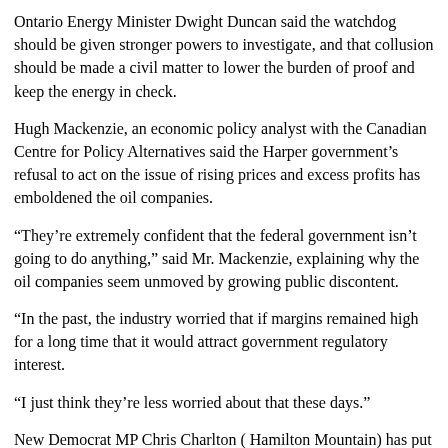Ontario Energy Minister Dwight Duncan said the watchdog should be given stronger powers to investigate, and that collusion should be made a civil matter to lower the burden of proof and keep the energy in check.
Hugh Mackenzie, an economic policy analyst with the Canadian Centre for Policy Alternatives said the Harper government's refusal to act on the issue of rising prices and excess profits has emboldened the oil companies.
“They’re extremely confident that the federal government isn’t going to do anything,” said Mr. Mackenzie, explaining why the oil companies seem unmoved by growing public discontent.
“In the past, the industry worried that if margins remained high for a long time that it would attract government regulatory interest.
“I just think they’re less worried about that these days.”
New Democrat MP Chris Charlton ( Hamilton Mountain) has put forward a private member’s bill calling for an oil and gas ombudsman to protect consumers.
“Consumers have known for a very long time there is no correlation necessarily between world events, domestic events, or